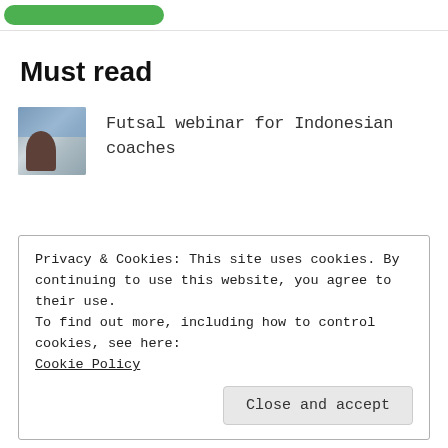[Figure (other): Green button/pill shape at top of page]
Must read
[Figure (photo): Small thumbnail image of a person looking at a screen, used as article illustration]
Futsal webinar for Indonesian coaches
Privacy & Cookies: This site uses cookies. By continuing to use this website, you agree to their use.
To find out more, including how to control cookies, see here:
Cookie Policy
Close and accept